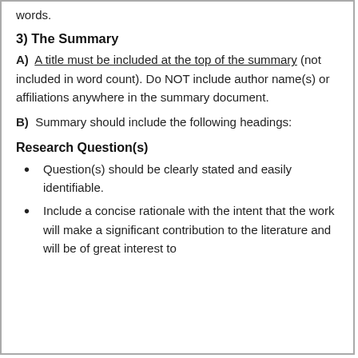words.
3) The Summary
A) A title must be included at the top of the summary (not included in word count). Do NOT include author name(s) or affiliations anywhere in the summary document.
B) Summary should include the following headings:
Research Question(s)
Question(s) should be clearly stated and easily identifiable.
Include a concise rationale with the intent that the work will make a significant contribution to the literature and will be of great interest to